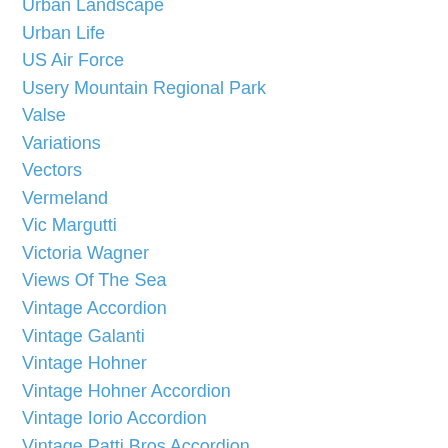Urban Landscape
Urban Life
US Air Force
Usery Mountain Regional Park
Valse
Variations
Vectors
Vermeland
Vic Margutti
Victoria Wagner
Views Of The Sea
Vintage Accordion
Vintage Galanti
Vintage Hohner
Vintage Hohner Accordion
Vintage Iorio Accordion
Vintage Patti Bros Accordion
Vintage Reeds
Vintage Scandalli
Viola
Violin